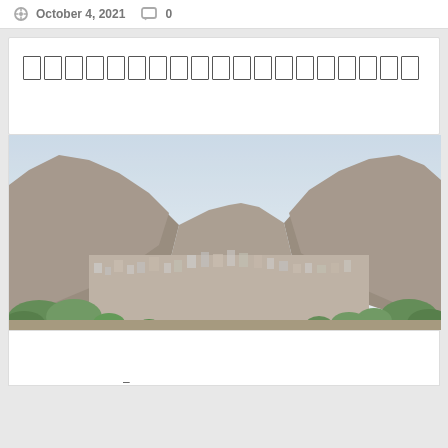October 4, 2021   0
□□□□□□□□□□□□□□□□□□□
[Figure (photo): Panoramic view of a valley town nestled between rocky mountains, with dense buildings filling the valley floor and green trees/shrubs in the foreground, hazy sky above]
–